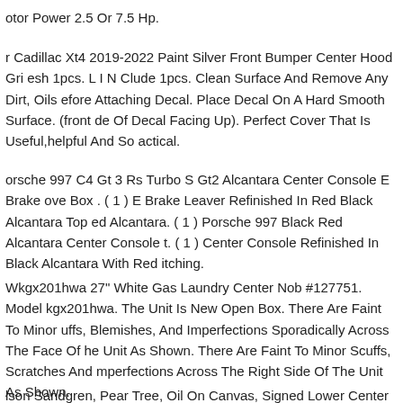otor Power 2.5 Or 7.5 Hp.
r Cadillac Xt4 2019-2022 Paint Silver Front Bumper Center Hood Gri esh 1pcs. L I N Clude 1pcs. Clean Surface And Remove Any Dirt, Oils efore Attaching Decal. Place Decal On A Hard Smooth Surface. (front de Of Decal Facing Up). Perfect Cover That Is Useful,helpful And So actical.
orsche 997 C4 Gt 3 Rs Turbo S Gt2 Alcantara Center Console E Brake ove Box . ( 1 ) E Brake Leaver Refinished In Red Black Alcantara Top ed Alcantara. ( 1 ) Porsche 997 Black Red Alcantara Center Console t. ( 1 ) Center Console Refinished In Black Alcantara With Red itching.
Wkgx201hwa 27" White Gas Laundry Center Nob #127751. Model kgx201hwa. The Unit Is New Open Box. There Are Faint To Minor uffs, Blemishes, And Imperfections Sporadically Across The Face Of he Unit As Shown. There Are Faint To Minor Scuffs, Scratches And mperfections Across The Right Side Of The Unit As Shown.
lson Sandgren, Pear Tree, Oil On Canvas, Signed Lower Center